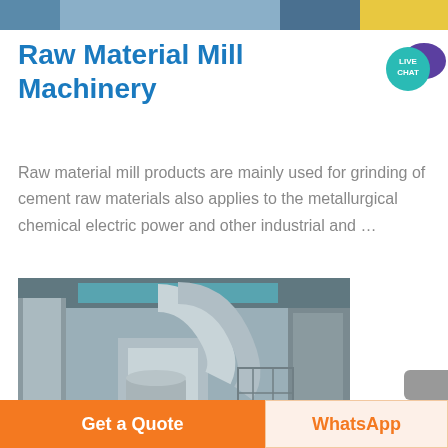[Figure (photo): Top portion of industrial machinery photo, partially visible at top of page]
Raw Material Mill Machinery
[Figure (logo): Live Chat speech bubble badge, teal circle with purple chat bubble and text LIVE CHAT]
Raw material mill products are mainly used for grinding of cement raw materials also applies to the metallurgical chemical electric power and other industrial and …
[Figure (photo): Industrial raw material mill machinery inside a factory building, showing large pipes, ducts, and milling equipment]
[Figure (other): Scroll-to-top button, partially visible at bottom right]
Get a Quote
WhatsApp